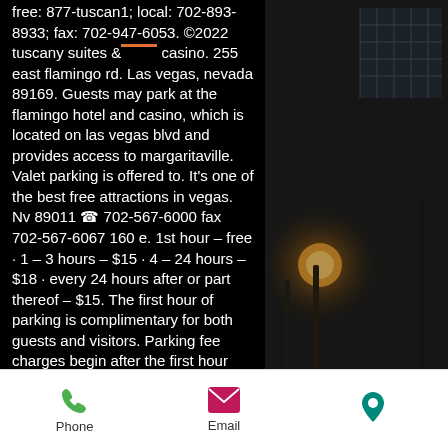free: 877-tuscan1; local: 702-893-8933; fax: 702-947-6053. ©2022 tuscany suites &amp; casino. 255 east flamingo rd. Las vegas, nevada 89169. Guests may park at the flamingo hotel and casino, which is located on las vegas blvd and provides access to margaritaville. Valet parking is offered to. It's one of the best free attractions in vegas. Nv 89011 ☎ 702-567-6000 fax 702-567-6067 160 e. 1st hour – free · 1 – 3 hours – $15 · 4 – 24 hours – $18 · every 24 hours after or part thereof – $15. The first hour of parking is complimentary for both guests and visitors. Parking fee charges begin after the first hour and add up till the end. Voted best comedy club in nyc and now las vegas nevada. The comedy cellar provides some of the best comedians from around the world! reserve
[Figure (photo): Dark interior photo of what appears to be a bar or restaurant with industrial-style decor, a glowing lamp, and window with grid pattern letting in light]
Phone   Email   [Location]